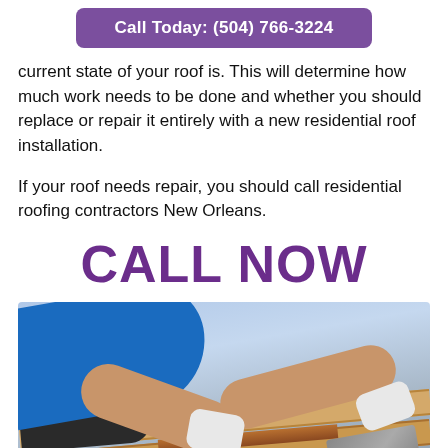Call Today: (504) 766-3224
current state of your roof is. This will determine how much work needs to be done and whether you should replace or repair it entirely with a new residential roof installation.
If your roof needs repair, you should call residential roofing contractors New Orleans.
CALL NOW
[Figure (photo): A roofer wearing a blue shirt and dark pants kneeling on wooden roof planks, wearing white gloves, working with a metal strip. A toolbox is visible in the lower left corner.]